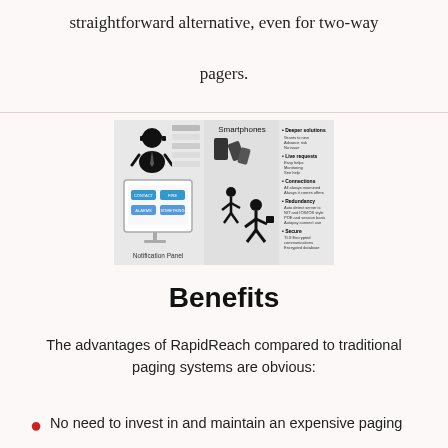straightforward alternative, even for two-way pagers.
[Figure (infographic): Diagram showing a notification panel with a person wearing a headset and a computer screen with colored buttons (CONTACT, FIRE, ALARMS, SOMETHING), alongside smartphones illustration with a running person and a panel listing Smartphones features/benefits.]
Benefits
The advantages of RapidReach compared to traditional paging systems are obvious:
No need to invest in and maintain an expensive paging